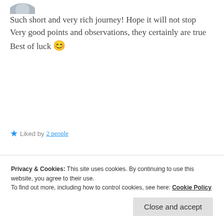[Figure (illustration): Partial view of a circular avatar/profile image at the top left]
Such short and very rich journey! Hope it will not stop
Very good points and observations, they certainly are true
Best of luck 😊
★ Liked by 2 people
REPLY
Privacy & Cookies: This site uses cookies. By continuing to use this website, you agree to their use.
To find out more, including how to control cookies, see here: Cookie Policy
Close and accept